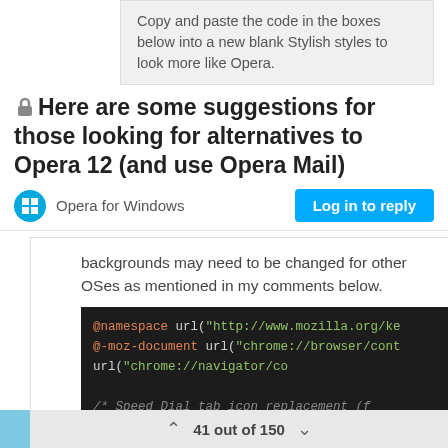Copy and paste the code in the boxes below into a new blank Stylish styles to look more like Opera.
Here are some suggestions for those looking for alternatives to Opera 12 (and use Opera Mail)
Opera for Windows
Log in to reply
backgrounds may need to be changed for other OSes as mentioned in my comments below.
[Figure (screenshot): Code block showing CSS/namespace declarations: @namespace url, @-moz-document url chrome browser and navigator, Speed Dial tab icon replacement comment, tab[label$='Speed Dial'] .tab-icon-im, width: 0 !important;]
41 out of 150